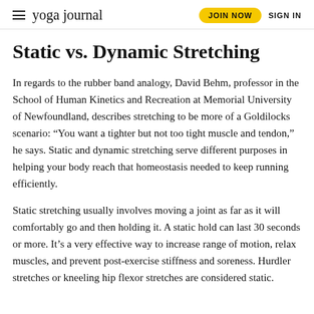yoga journal   JOIN NOW   SIGN IN
Static vs. Dynamic Stretching
In regards to the rubber band analogy, David Behm, professor in the School of Human Kinetics and Recreation at Memorial University of Newfoundland, describes stretching to be more of a Goldilocks scenario: “You want a tighter but not too tight muscle and tendon,” he says. Static and dynamic stretching serve different purposes in helping your body reach that homeostasis needed to keep running efficiently.
Static stretching usually involves moving a joint as far as it will comfortably go and then holding it. A static hold can last 30 seconds or more. It’s a very effective way to increase range of motion, relax muscles, and prevent post-exercise stiffness and soreness. Hurdler stretches or kneeling hip flexor stretches are considered static.